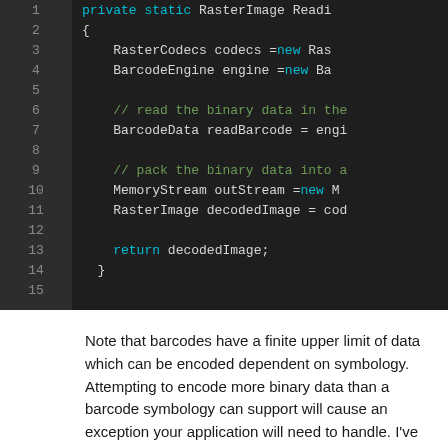[Figure (screenshot): Code editor screenshot showing C# method lines 1-15. Line 1: private static RasterImage Readi... Line 2: { Line 3: RasterCodecs codecs = new Ras... Line 4: BarcodeEngine engine = new Ba... Line 5: (blank) Line 6: // read the binary data in the... Line 7: BarcodeData readBarcode = engi... Line 8: (blank) Line 9: // pack the binary data into a... Line 10: MemoryStream outStream = new M... Line 11: RasterImage decodedImage = cod... Line 12: (blank) Line 13: return decodedImage; Line 14: } Line 15: (blank)]
Note that barcodes have a finite upper limit of data which can be encoded dependent on symbology. Attempting to encode more binary data than a barcode symbology can support will cause an exception your application will need to handle. I've attached both the input image and the generated barcode.